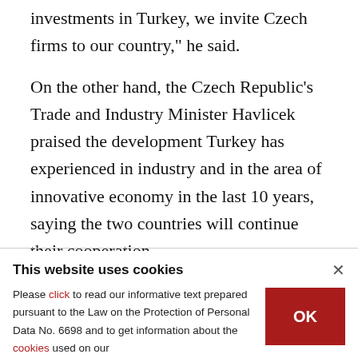investments in Turkey, we invite Czech firms to our country," he said.
On the other hand, the Czech Republic's Trade and Industry Minister Havlicek praised the development Turkey has experienced in industry and in the area of innovative economy in the last 10 years, saying the two countries will continue their cooperation.
This website uses cookies
Please click to read our informative text prepared pursuant to the Law on the Protection of Personal Data No. 6698 and to get information about the cookies used on our